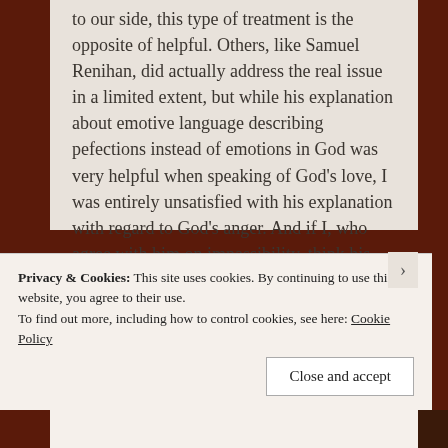to our side, this type of treatment is the opposite of helpful. Others, like Samuel Renihan, did actually address the real issue in a limited extent, but while his explanation about emotive language describing pefections instead of emotions in God was very helpful when speaking of God's love, I was entirely unsatisfied with his explanation with regard to God's anger. And if I, who agree with him on impassibility, think his explanation makes God's anger seem cold and mechanical, I don't think it will go far in convincing
Privacy & Cookies: This site uses cookies. By continuing to use this website, you agree to their use.
To find out more, including how to control cookies, see here: Cookie Policy